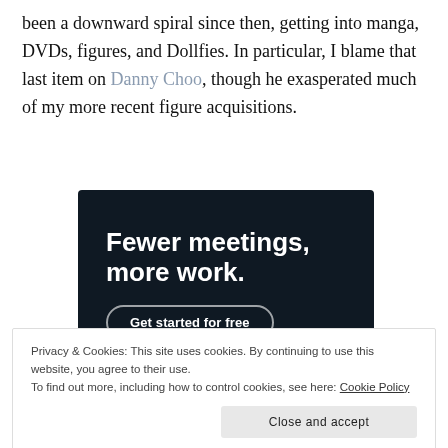been a downward spiral since then, getting into manga, DVDs, figures, and Dollfies. In particular, I blame that last item on Danny Choo, though he exasperated much of my more recent figure acquisitions.
[Figure (other): Dark advertisement banner with white bold text reading 'Fewer meetings, more work.' and a button labeled 'Get started for free']
Privacy & Cookies: This site uses cookies. By continuing to use this website, you agree to their use. To find out more, including how to control cookies, see here: Cookie Policy
Close and accept